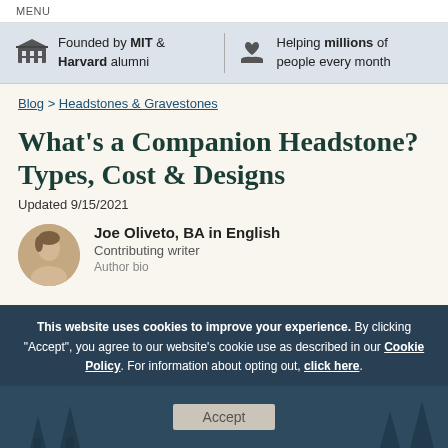MENU
Founded by MIT & Harvard alumni | Helping millions of people every month
Blog > Headstones & Gravestones
What's a Companion Headstone? Types, Cost & Designs
Updated 9/15/2021
Joe Oliveto, BA in English
Contributing writer
Author bio
This website uses cookies to improve your experience. By clicking "Accept", you agree to our website's cookie use as described in our Cookie Policy. For information about opting out, click here.
Accept